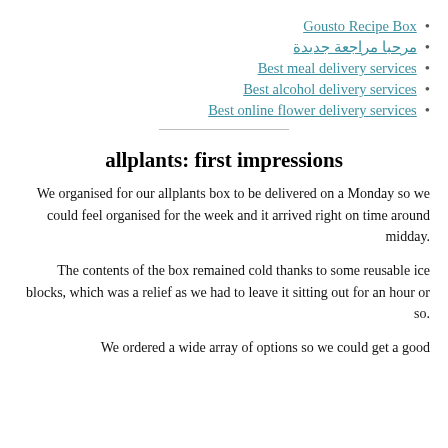Gousto Recipe Box
مرحبا مراجعة جديدة
Best meal delivery services
Best alcohol delivery services
Best online flower delivery services
allplants: first impressions
We organised for our allplants box to be delivered on a Monday so we could feel organised for the week and it arrived right on time around midday.
The contents of the box remained cold thanks to some reusable ice blocks, which was a relief as we had to leave it sitting out for an hour or so.
We ordered a wide array of options so we could get a good